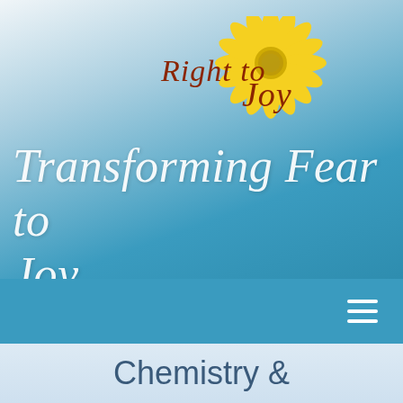[Figure (logo): Right to Joy logo with sunflower graphic and cursive script text 'Right to Joy'. The sunflower has yellow petals and a circular center, with the text in brown/auburn cursive script.]
Transforming Fear to Joy
[Figure (other): Navigation bar hamburger menu icon (three horizontal white lines) on a teal/blue background]
Chemistry &